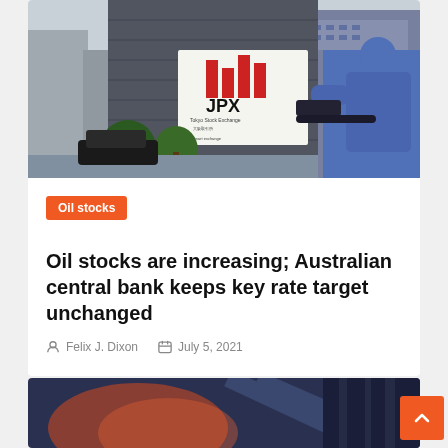[Figure (photo): Photograph of the JPX (Japan Exchange Group) building exterior with a cyclist in the foreground wearing a blue shirt]
Oil stocks
Oil stocks are increasing; Australian central bank keeps key rate target unchanged
Felix J. Dixon  July 5, 2021
[Figure (photo): Partial view of a second article image with dark blue and orange tones]